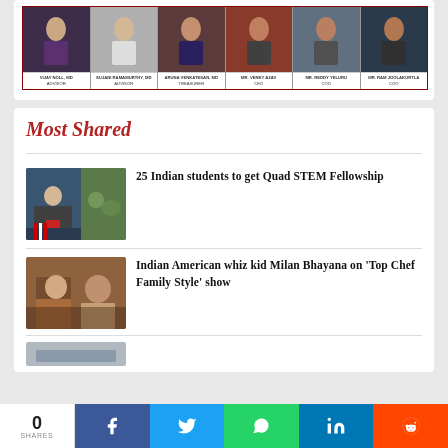[Figure (photo): Organization photo strip showing six people with name labels: VIJAY NOLL MD (ADVISOR), SUJANI RAMAMURTHY MD (ADVISOR), ARUNA VENKATESAN MD (TREASURER), MR. VENKY AZAV (CEO), MR. REDDY YELURU (COO), MR. RAM JOOLAKURTLA (COO)]
Most Shared
[Figure (photo): Thumbnail photo of a person speaking at a podium with US flag background, and a group of people on a lawn]
25 Indian students to get Quad STEM Fellowship
[Figure (photo): Thumbnail photo of two people in a kitchen/restaurant setting]
Indian American whiz kid Milan Bhayana on 'Top Chef Family Style' show
0 SHARES  [Facebook] [Twitter] [WhatsApp] [LinkedIn] [Reddit]